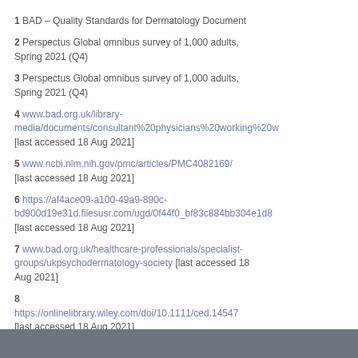1 BAD – Quality Standards for Dermatology Document
2 Perspectus Global omnibus survey of 1,000 adults, Spring 2021 (Q4)
3 Perspectus Global omnibus survey of 1,000 adults, Spring 2021 (Q4)
4 www.bad.org.uk/library-media/documents/consultant%20physicians%20working%20w [last accessed 18 Aug 2021]
5 www.ncbi.nlm.nih.gov/pmc/articles/PMC4082169/ [last accessed 18 Aug 2021]
6 https://af4ace09-a100-49a9-890c-bd900d19e31d.filesusr.com/ugd/0f44f0_bf83c884bb304e1d8 [last accessed 18 Aug 2021]
7 www.bad.org.uk/healthcare-professionals/specialist-groups/ukpsychodermatology-society [last accessed 18 Aug 2021]
8 https://onlinelibrary.wiley.com/doi/10.1111/ced.14547 [last accessed 18 Aug 2021]